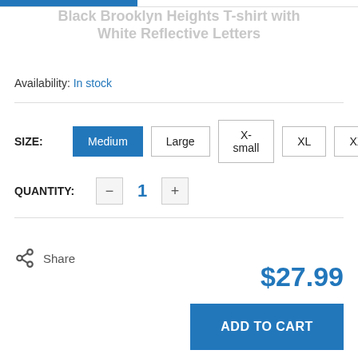Black Brooklyn Heights T-shirt with White Reflective Letters
Availability: In stock
SIZE: Medium Large X-small XL XXL
QUANTITY: - 1 +
Share
$27.99
ADD TO CART